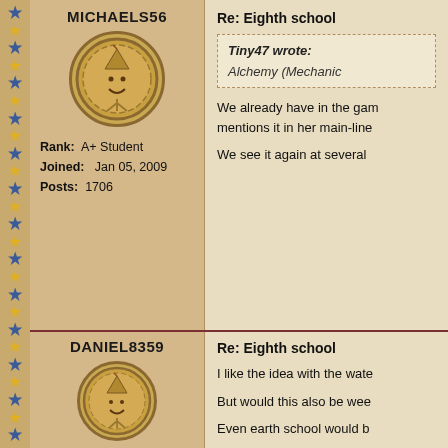MICHAELS56
Rank: A+ Student
Joined: Jan 05, 2009
Posts: 1706
Re: Eighth school
Tiny47 wrote:

Alchemy (Mechanic...
We already have in the game... mentions it in her main-line...

We see it again at several...
DANIEL8359
Rank: Survivor
Joined: May 07, 2009
Posts: 2
Re: Eighth school
I like the idea with the wate...

But would this also be wee...

Even earth school would b...

And the balance spells are...